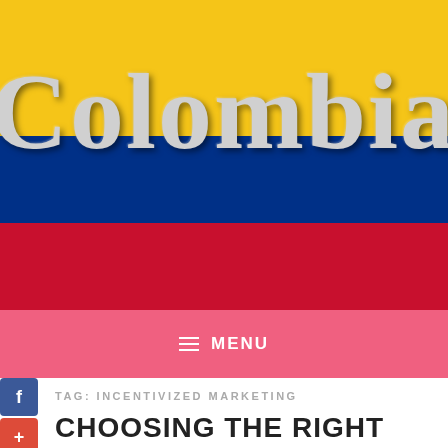[Figure (illustration): Colombia flag-themed website header banner showing the text 'Colombia' in large serif letters over the Colombian flag colors (yellow, blue, red)]
≡ MENU
TAG: INCENTIVIZED MARKETING
CHOOSING THE RIGHT INCENTIVE MARKETING PLATFORM
May 25, 2022
When you start a new business, and incentivized marketing can